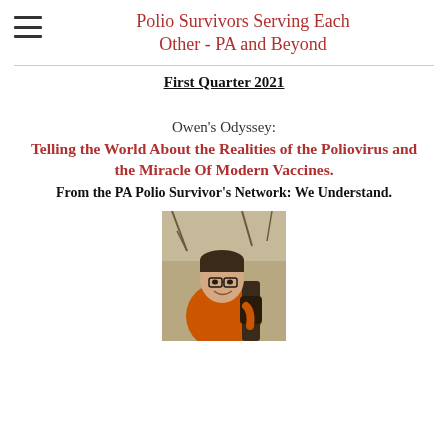Polio Survivors Serving Each Other - PA and Beyond
First Quarter 2021
Owen's Odyssey:
Telling the World About the Realities of the Poliovirus and the Miracle Of Modern Vaccines.
From the PA Polio Survivor's Network: We Understand.
[Figure (photo): A person wearing glasses and an orange jacket holding a guitar, photographed outdoors with bare trees in the background.]